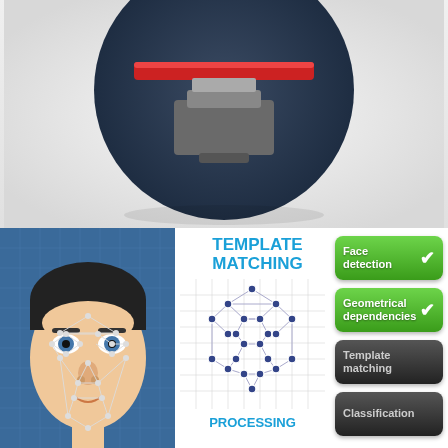[Figure (illustration): Top section showing a fingerprint scanner illustration inside a dark circular badge on a light grey gradient background]
[Figure (infographic): Bottom section: face recognition infographic showing a man's face with geometric mesh overlay, a template matching diagram with connected nodes on grid, the text TEMPLATE MATCHING, and four buttons: Face detection (green checked), Geometrical dependencies (green checked), Template matching (dark), Classification (dark). PROCESSING label at bottom.]